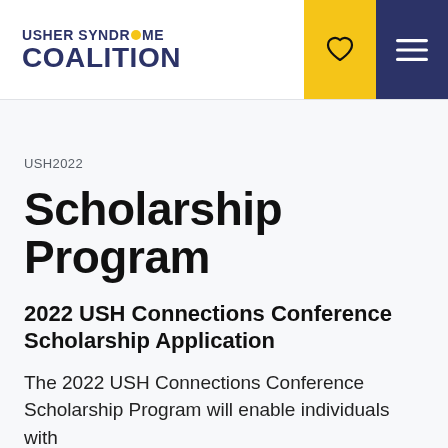USHER SYNDROME COALITION
USH2022
Scholarship Program
2022 USH Connections Conference Scholarship Application
The 2022 USH Connections Conference Scholarship Program will enable individuals with